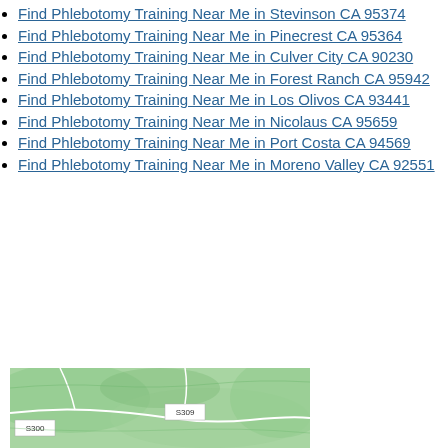Find Phlebotomy Training Near Me in Stevinson CA 95374
Find Phlebotomy Training Near Me in Pinecrest CA 95364
Find Phlebotomy Training Near Me in Culver City CA 90230
Find Phlebotomy Training Near Me in Forest Ranch CA 95942
Find Phlebotomy Training Near Me in Los Olivos CA 93441
Find Phlebotomy Training Near Me in Nicolaus CA 95659
Find Phlebotomy Training Near Me in Port Costa CA 94569
Find Phlebotomy Training Near Me in Moreno Valley CA 92551
[Figure (map): Green topographic map showing road routes S300 and S309 through a mountainous area]